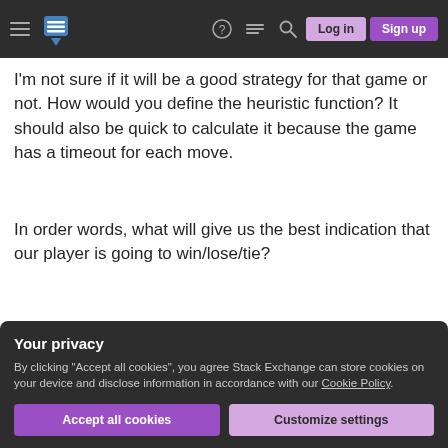Stack Exchange navigation bar with hamburger menu, logo, question mark, chat, search, Log in and Sign up buttons
I'm not sure if it will be a good strategy for that game or not. How would you define the heuristic function? It should also be quick to calculate it because the game has a timeout for each move.
In order words, what will give us the best indication that our player is going to win/lose/tie?
game-ai
minimax
exploration-strategies
heuristic-functions
board-games
Your privacy
By clicking "Accept all cookies", you agree Stack Exchange can store cookies on your device and disclose information in accordance with our Cookie Policy.